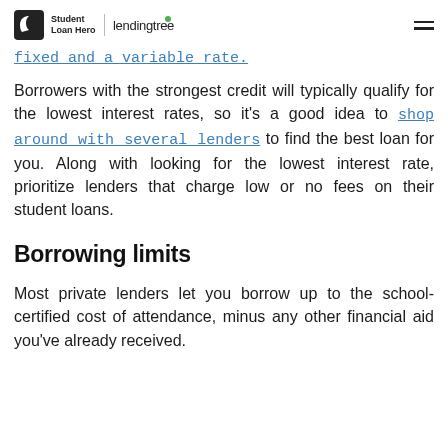Student Loan Hero | lendingtree
fixed and a variable rate.
Borrowers with the strongest credit will typically qualify for the lowest interest rates, so it's a good idea to shop around with several lenders to find the best loan for you. Along with looking for the lowest interest rate, prioritize lenders that charge low or no fees on their student loans.
Borrowing limits
Most private lenders let you borrow up to the school-certified cost of attendance, minus any other financial aid you've already received.